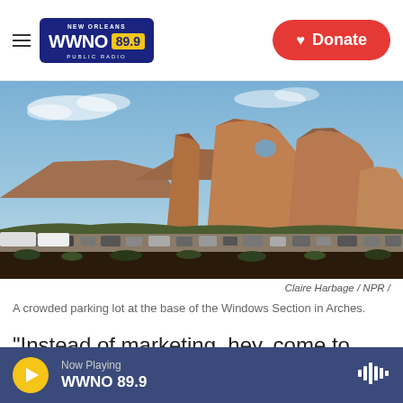WWNO 89.9 NEW ORLEANS PUBLIC RADIO | Donate
[Figure (photo): A panoramic desert landscape with large red rock formations (Arches National Park, Utah). In the foreground is a crowded parking lot filled with cars and RVs. The sky is partly cloudy and the terrain shows arid scrubland.]
Claire Harbage / NPR /
A crowded parking lot at the base of the Windows Section in Arches.
"Instead of marketing, hey, come to Moab, it's a blast, now we're marketing, come to Moab and when you do, know before you go," says Emily
Now Playing WWNO 89.9